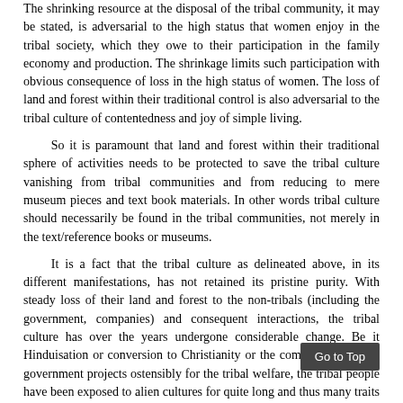The shrinking resource at the disposal of the tribal community, it may be stated, is adversarial to the high status that women enjoy in the tribal society, which they owe to their participation in the family economy and production. The shrinkage limits such participation with obvious consequence of loss in the high status of women. The loss of land and forest within their traditional control is also adversarial to the tribal culture of contentedness and joy of simple living.
So it is paramount that land and forest within their traditional sphere of activities needs to be protected to save the tribal culture vanishing from tribal communities and from reducing to mere museum pieces and text book materials. In other words tribal culture should necessarily be found in the tribal communities, not merely in the text/reference books or museums.
It is a fact that the tribal culture as delineated above, in its different manifestations, has not retained its pristine purity. With steady loss of their land and forest to the non-tribals (including the government, companies) and consequent interactions, the tribal culture has over the years undergone considerable change. Be it Hinduisation or conversion to Christianity or the coming of different government projects ostensibly for the tribal welfare, the tribal people have been exposed to alien cultures for quite long and thus many traits have infiltrated into the tribal life which are not consistent with their original way of living. So much so that Prof. A. Singer remarked that the adivasis didn't hesitate to acknowledge...